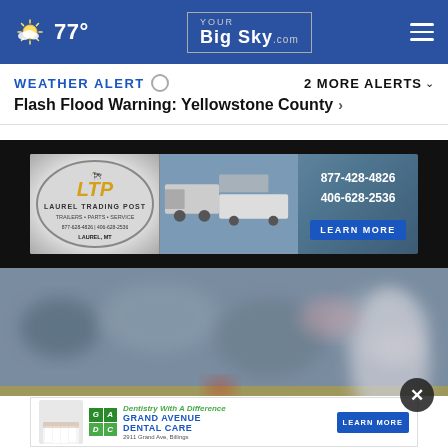77° YourBigSky.com
WEATHER ALERT  2 MORE ALERTS ∨
Flash Flood Warning: Yellowstone County ›
[Figure (other): LTP Laurel Trading Post advertisement banner — trailers, parts, service. Phone: 877-428-4826, 406-628-2536. LEARN MORE button. Laurel, MT.]
[Figure (photo): Blurred background photo of a baseball stadium with crowd and a player in white uniform on the right side.]
[Figure (other): Grand Avenue Dental Care advertisement — Dentistry With A Difference, 2911 Grand Ave, Billings. LEARN MORE button. Green GA/DC logo with tooth/smile image.]